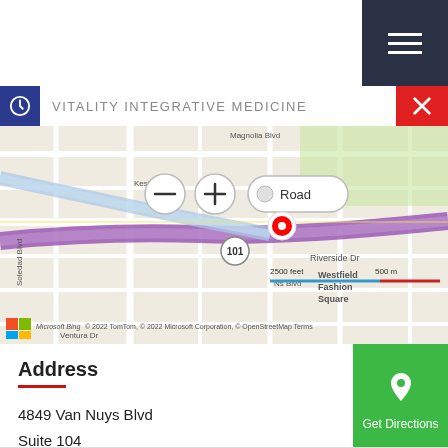[Figure (map): Street map showing location of Vitality Integrative Medicine at 4849 Van Nuys Blvd, Sherman Oaks, CA. Map shows roads including Kester Ave, Ns Blvd, Riverside Dr, and highway 101. A red location pin marks the clinic. Map controls include zoom in/out buttons and a Road view selector. Scale shows 2500 feet / 500 m. Map data from Microsoft Bing, TomTom, Microsoft Corporation, OpenStreetMap.]
Address
4849 Van Nuys Blvd
Suite 104
Sherman Oaks, CA 91403
(424) 365-1800
www.vitalityintegrative.com